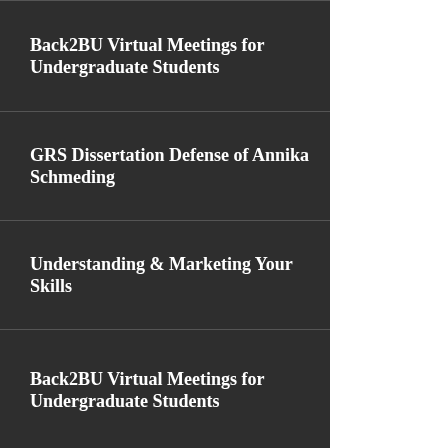Back2BU Virtual Meetings for Undergraduate Students — 8:00 am
GRS Dissertation Defense of Annika Schmeding — 9:00 am
Understanding & Marketing Your Skills — 5:00 pm
Back2BU Virtual Meetings for Undergraduate Students — 8:00 pm